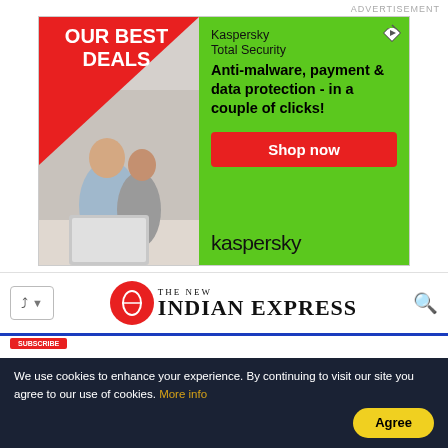ADVERTISEMENT
[Figure (illustration): Kaspersky Total Security advertisement banner. Left side red background with 'OUR BEST DEALS' text and photo of couple smiling at laptop. Right side green background with text: 'Kaspersky Total Security', 'Anti-malware, payment & data protection - in a couple of clicks!', red 'Shop now' button, and kaspersky logo at bottom.]
[Figure (logo): The New Indian Express newspaper logo with red circular emblem and bold serif text 'THE NEW INDIAN EXPRESS']
We use cookies to enhance your experience. By continuing to visit our site you agree to our use of cookies. More info